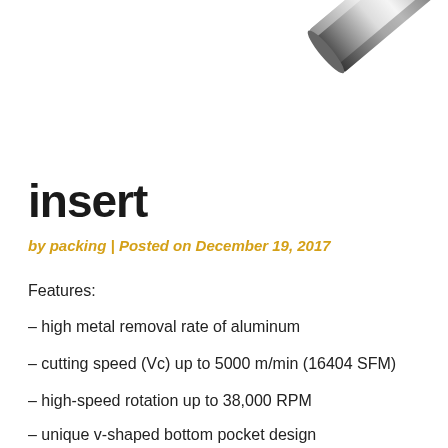[Figure (photo): Close-up photo of a metallic cylindrical cutting insert tool, shown diagonally in the upper right corner against a white background.]
insert
by packing | Posted on December 19, 2017
Features:
– high metal removal rate of aluminum
– cutting speed (Vc) up to 5000 m/min (16404 SFM)
– high-speed rotation up to 38,000 RPM
– unique v-shaped bottom pocket design